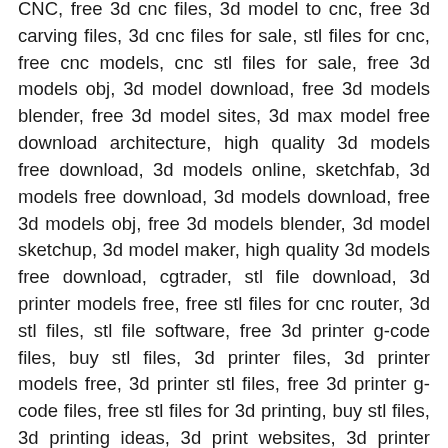CNC, free 3d cnc files, 3d model to cnc, free 3d carving files, 3d cnc files for sale, stl files for cnc, free cnc models, cnc stl files for sale, free 3d models obj, 3d model download, free 3d models blender, free 3d model sites, 3d max model free download architecture, high quality 3d models free download, 3d models online, sketchfab, 3d models free download, 3d models download, free 3d models obj, free 3d models blender, 3d model sketchup, 3d model maker, high quality 3d models free download, cgtrader, stl file download, 3d printer models free, free stl files for cnc router, 3d stl files, stl file software, free 3d printer g-code files, buy stl files, 3d printer files, 3d printer models free, 3d printer stl files, free 3d printer g-code files, free stl files for 3d printing, buy stl files, 3d printing ideas, 3d print websites, 3d printer software, evangelion 3d model, evangelion 3d google, evangelion 3d model free, eva 01 stl, eva 01 3d model, evangelion stl, thingiverse evangelion, eva 02 3d model, artcam 3d relief files free download, artcam 3d model free download, artcam 3d door designs free download, cnc router 3d carving files free download, cnc stl files for